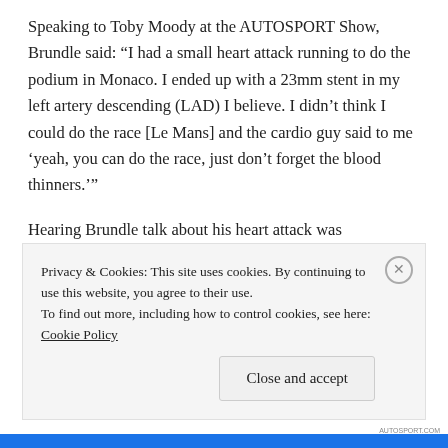Speaking to Toby Moody at the AUTOSPORT Show, Brundle said: “I had a small heart attack running to do the podium in Monaco. I ended up with a 23mm stent in my left artery descending (LAD) I believe. I didn’t think I could do the race [Le Mans] and the cardio guy said to me ‘yeah, you can do the race, just don’t forget the blood thinners.’”
Hearing Brundle talk about his heart attack was remarkable, just two weeks before winning at Le
Privacy & Cookies: This site uses cookies. By continuing to use this website, you agree to their use.
To find out more, including how to control cookies, see here: Cookie Policy
Close and accept